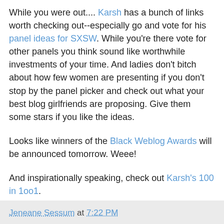While you were out.... Karsh has a bunch of links worth checking out--especially go and vote for his panel ideas for SXSW. While you're there vote for other panels you think sound like worthwhile investments of your time. And ladies don't bitch about how few women are presenting if you don't stop by the panel picker and check out what your best blog girlfriends are proposing. Give them some stars if you like the ideas.
Looks like winners of the Black Weblog Awards will be announced tomorrow. Weee!
And inspirationally speaking, check out Karsh's 100 in 1oo1.
----
technorati tags: karsh, black weblog awards, blogging, SXSW, ladies, conferences, marketing, PRosphere, linky loo
Jeneane Sessum at 7:22 PM